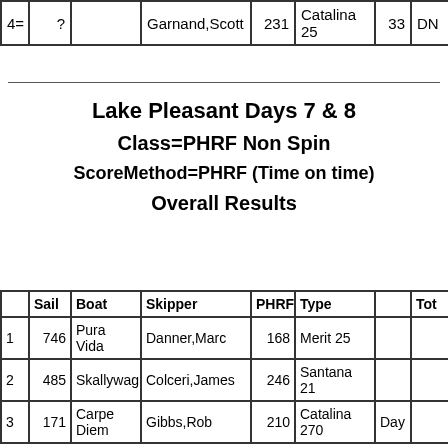|  | Sail | Boat | Skipper | PHRF | Type |  | Tot... |
| --- | --- | --- | --- | --- | --- | --- | --- |
| 4= | ? |  | Garnand,Scott | 231 | Catalina 25 | 33 | DN... |
Lake Pleasant Days 7 & 8
Class=PHRF Non Spin
ScoreMethod=PHRF (Time on time)
Overall Results
|  | Sail | Boat | Skipper | PHRF | Type |  | Tot... |
| --- | --- | --- | --- | --- | --- | --- | --- |
| 1 | 746 | Pura Vida | Danner,Marc | 168 | Merit 25 |  |  |
| 2 | 485 | Skallywag | Colceri,James | 246 | Santana 21 |  |  |
| 3 | 171 | Carpe Diem | Gibbs,Rob | 210 | Catalina 270 | Day |  |